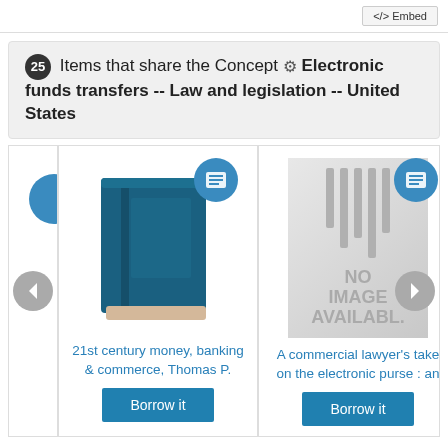</> Embed
25 Items that share the Concept ⚙ Electronic funds transfers -- Law and legislation -- United States
[Figure (screenshot): Carousel of book items. Two visible book cards: (1) '21st century money, banking & commerce, Thomas P.' with a blue book cover icon and 'Borrow it' button; (2) 'A commercial lawyer's take on the electronic purse : an' with a 'NO IMAGE AVAILABLE' placeholder and 'Borrow it' button. Left and right navigation arrows visible. Partial blue circle on far left.]
21st century money, banking & commerce, Thomas P.
A commercial lawyer's take on the electronic purse : an